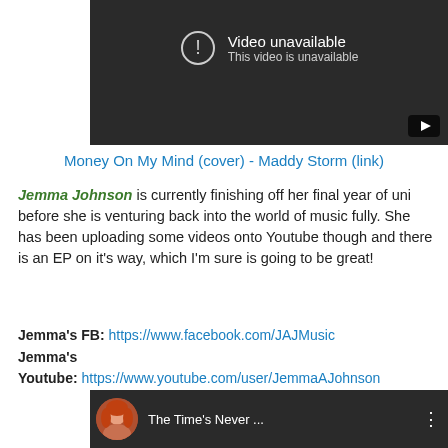[Figure (screenshot): YouTube embedded video player showing 'Video unavailable - This video is unavailable' error screen with dark background and YouTube play button icon in bottom right.]
Money On My Mind (cover) - Maddy Storm (link)
Jemma Johnson is currently finishing off her final year of uni before she is venturing back into the world of music fully. She has been uploading some videos onto Youtube though and there is an EP on it's way, which I'm sure is going to be great!
Jemma's FB: https://www.facebook.com/JAJMusic
Jemma's Youtube: https://www.youtube.com/user/JemmaAJohnson
[Figure (screenshot): YouTube video thumbnail showing a person with red hair, with title 'The Time's Never ...' and three-dot menu icon.]